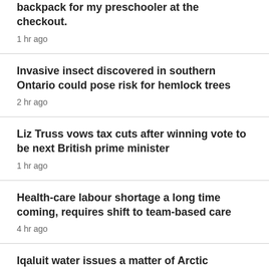backpack for my preschooler at the checkout.
1 hr ago
Invasive insect discovered in southern Ontario could pose risk for hemlock trees
2 hr ago
Liz Truss vows tax cuts after winning vote to be next British prime minister
1 hr ago
Health-care labour shortage a long time coming, requires shift to team-based care
4 hr ago
Iqaluit water issues a matter of Arctic security, Nunavut MP Lori Idlout says
1 hr ago